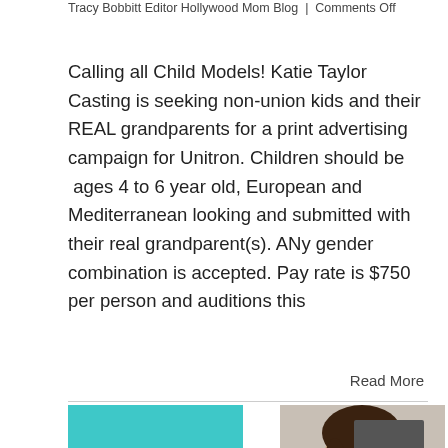Tracy Bobbitt Editor Hollywood Mom Blog  |  Comments Off
Calling all Child Models! Katie Taylor Casting is seeking non-union kids and their REAL grandparents for a print advertising campaign for Unitron. Children should be ages 4 to 6 year old, European and Mediterranean looking and submitted with their real grandparent(s). ANy gender combination is accepted. Pay rate is $750 per person and auditions this
Read More
[Figure (other): Teal date box showing '28' and '04, 2013']
[Figure (photo): Photo of a young child model, close-up face shot]
[Figure (other): Dark gray back-to-top button with upward chevron arrow]